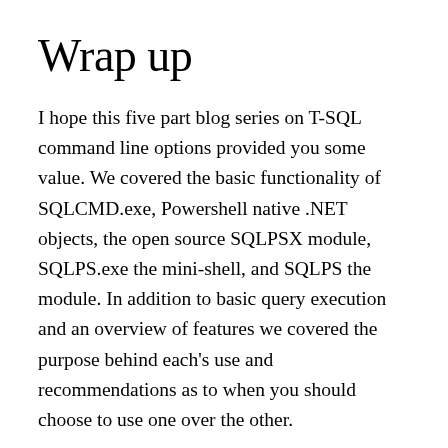Wrap up
I hope this five part blog series on T-SQL command line options provided you some value. We covered the basic functionality of SQLCMD.exe, Powershell native .NET objects, the open source SQLPSX module, SQLPS.exe the mini-shell, and SQLPS the module. In addition to basic query execution and an overview of features we covered the purpose behind each's use and recommendations as to when you should choose to use one over the other.
If you have a question you'd like answered or